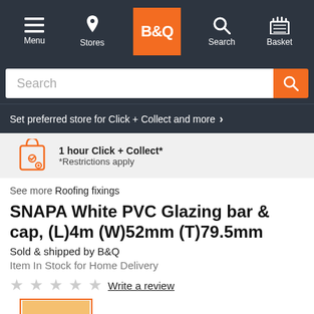Menu | Stores | B&Q | Search | Basket
Search
Set preferred store for Click + Collect and more >
1 hour Click + Collect* *Restrictions apply
See more Roofing fixings
SNAPA White PVC Glazing bar & cap, (L)4m (W)52mm (T)79.5mm
Sold & shipped by B&Q
Item In Stock for Home Delivery
Write a review
[Figure (photo): Product thumbnail image of SNAPA White PVC Glazing bar with orange border]